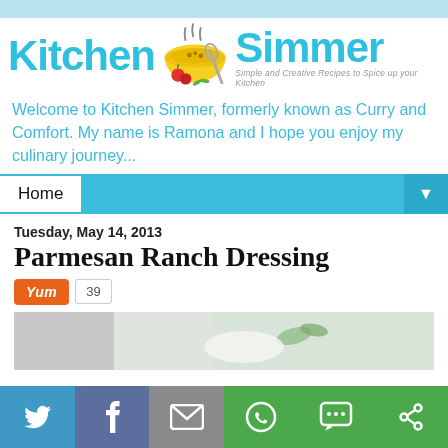[Figure (logo): Kitchen Simmer blog logo with teal text, yellow bowl with steam, tomatoes, whisk, and green herbs. Tagline: Simple and Creative Recipes to Spice up your Kitchen]
Welcome to Kitchen Simmer, formerly known as Curry and Comfort. My name is Ramona and I hope you enjoy my culinary journey...
Home
Tuesday, May 14, 2013
Parmesan Ranch Dressing
[Figure (photo): Yum button (orange) with count 39, and partial food photo showing ranch dressing]
[Figure (infographic): Social sharing bar with Twitter, Facebook, Email, WhatsApp, SMS, and other share buttons]